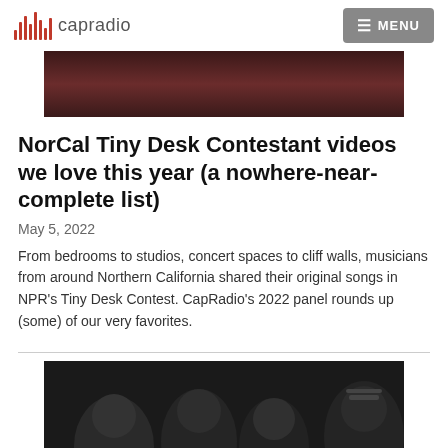capradio  MENU
[Figure (photo): Top banner photo showing music recording studio equipment, dark reddish ambiance]
NorCal Tiny Desk Contestant videos we love this year (a nowhere-near-complete list)
May 5, 2022
From bedrooms to studios, concert spaces to cliff walls, musicians from around Northern California shared their original songs in NPR's Tiny Desk Contest. CapRadio's 2022 panel rounds up (some) of our very favorites.
[Figure (photo): Black and white group photo of four musicians, three women and one man with glasses, looking at camera]